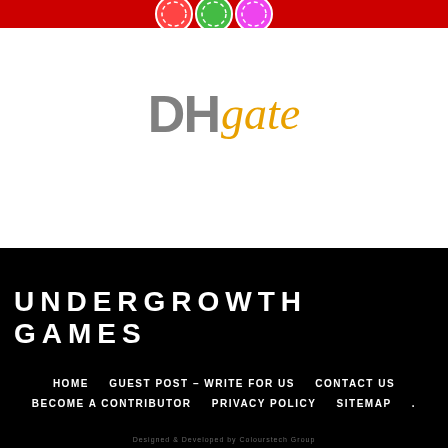[Figure (illustration): Partial top strip showing colorful casino chips on a red background, cropped at top of page]
[Figure (logo): DHgate logo: 'DH' in bold gray sans-serif, 'gate' in italic golden/amber serif font]
UNDERGROWTH GAMES
HOME   GUEST POST – WRITE FOR US   CONTACT US   BECOME A CONTRIBUTOR   PRIVACY POLICY   SITEMAP   .
Designed & Developed by Colourstech Group